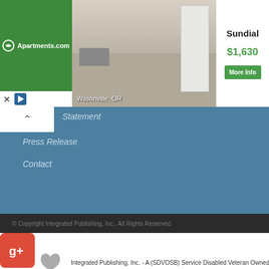[Figure (screenshot): Apartments.com advertisement banner showing a kitchen photo for Sundial in Wilsonville, OR at $1,630 with a More Info button]
Statement
Press Release
Contact
© Copyright Integrated Publishing, Inc.. All Rights Reserved.
Integrated Publishing, Inc. - A (SDVOSB) Service Disabled Veteran Owned Small Business